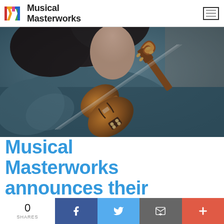Musical Masterworks
[Figure (photo): A person holding a violin/viola close-up, wearing a teal/dark jacket, showing the scroll and strings of the instrument prominently]
Musical Masterworks announces their December 2021 concert weekend
0 SHARES
f (Facebook share button)
Twitter share button
Email share button
+ (more share options)